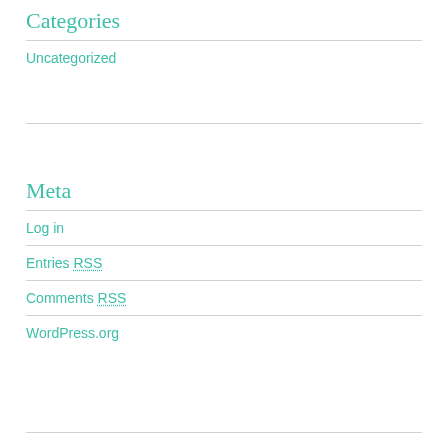Categories
Uncategorized
Meta
Log in
Entries RSS
Comments RSS
WordPress.org